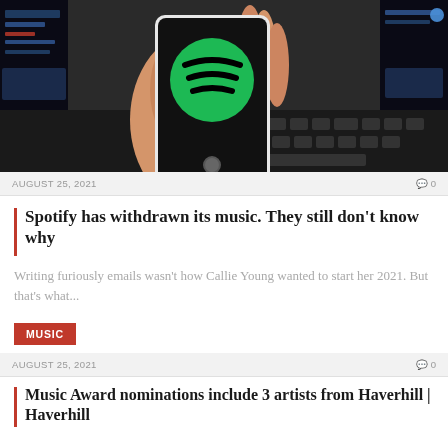[Figure (photo): A hand holding a white smartphone displaying the Spotify logo (green circle with black sound waves) in front of a laptop keyboard, suggesting the Spotify app being used on a mobile device.]
AUGUST 25, 2021
0
Spotify has withdrawn its music. They still don't know why
Writing furiously emails wasn't how Callie Young wanted to start her 2021. But that's what...
MUSIC
AUGUST 25, 2021
0
Music Award nominations include 3 artists from Haverhill | Haverhill